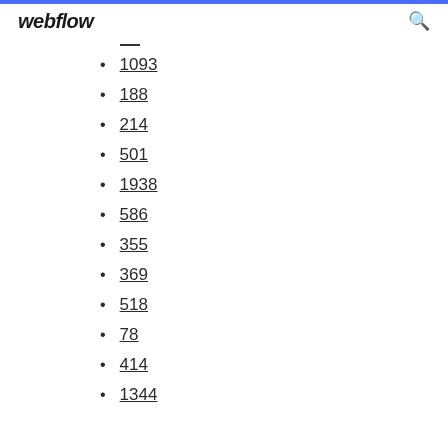webflow
1093
188
214
501
1938
586
355
369
518
78
414
1344